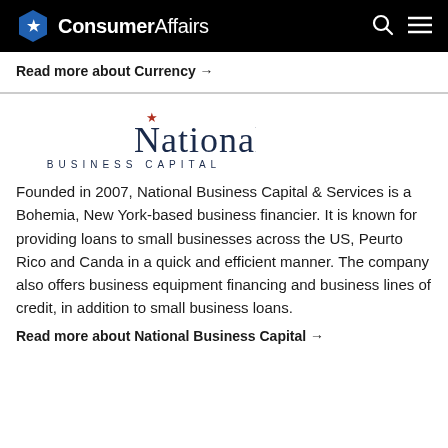ConsumerAffairs
Read more about Currency →
[Figure (logo): National Business Capital logo — stylized text with a star above the 'i' in National, and 'BUSINESS CAPITAL' in small caps below]
Founded in 2007, National Business Capital & Services is a Bohemia, New York-based business financier. It is known for providing loans to small businesses across the US, Peurto Rico and Canda in a quick and efficient manner. The company also offers business equipment financing and business lines of credit, in addition to small business loans.
Read more about National Business Capital →